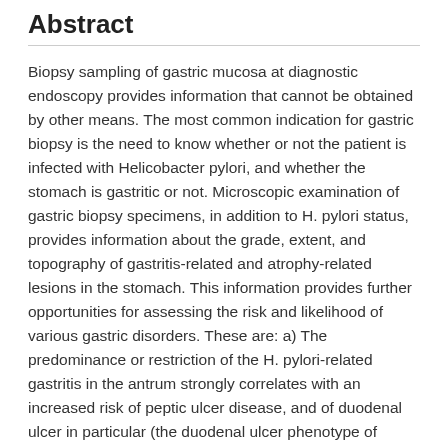Abstract
Biopsy sampling of gastric mucosa at diagnostic endoscopy provides information that cannot be obtained by other means. The most common indication for gastric biopsy is the need to know whether or not the patient is infected with Helicobacter pylori, and whether the stomach is gastritic or not. Microscopic examination of gastric biopsy specimens, in addition to H. pylori status, provides information about the grade, extent, and topography of gastritis-related and atrophy-related lesions in the stomach. This information provides further opportunities for assessing the risk and likelihood of various gastric disorders. These are: a) The predominance or restriction of the H. pylori-related gastritis in the antrum strongly correlates with an increased risk of peptic ulcer disease, and of duodenal ulcer in particular (the duodenal ulcer phenotype of gastritis). b) The presence of atrophic gastritis (loss of